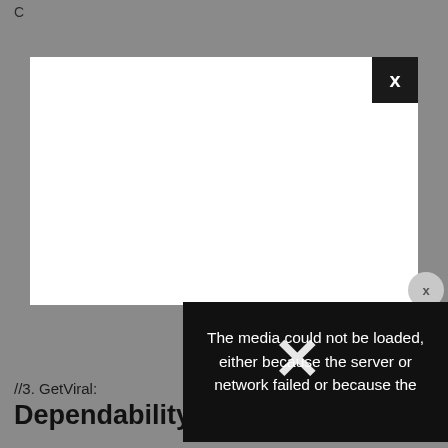[Figure (screenshot): A web browser screenshot showing a video player modal with a white content area and a black close button marked 'x' in the top-right corner. A circular close button also appears on the right side. An error overlay box at the bottom-right of the modal displays the message: 'The media could not be loaded, either because the server or network failed or because the' with a large X overlaid.]
//3. GetViral:
Dependability